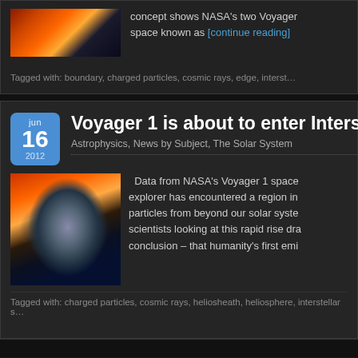concept shows NASA's two Voyager space known as [continue reading]
Tagged with: boundary, charged particles, cosmic rays, edge, interst...
Voyager 1 is about to enter Interste...
Astrophysics, News by Subject, The Solar System
[Figure (photo): NASA illustration of the heliosphere and Voyager spacecraft trajectory]
Data from NASA's Voyager 1 space explorer has encountered a region in particles from beyond our solar syste scientists looking at this rapid rise dra conclusion – that humanity's first emi
Tagged with: charged particles, cosmic rays, heliosheath, heliosphere, interstellar s...